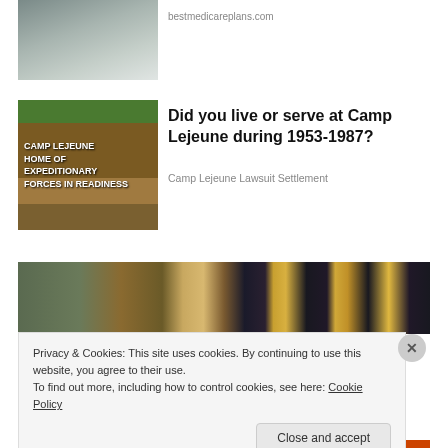[Figure (photo): Building exterior with metal railings and stairs]
bestmedicareplans.com
[Figure (photo): Camp Lejeune entrance sign: HOME OF EXPEDITIONARY FORCES IN READINESS]
Did you live or serve at Camp Lejeune during 1953-1987?
Camp Lejeune Lawsuit Settlement
[Figure (photo): Wide composite image of gas station and bokeh night lights]
Privacy & Cookies: This site uses cookies. By continuing to use this website, you agree to their use.
To find out more, including how to control cookies, see here: Cookie Policy
Close and accept